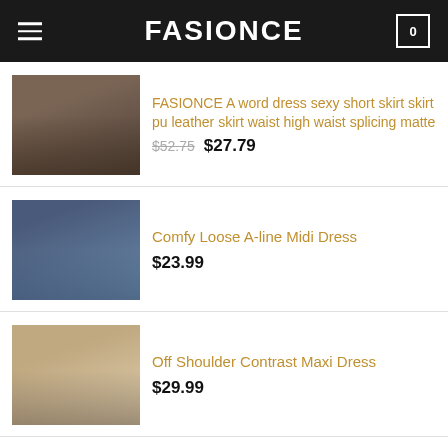FASIONCE
[Figure (photo): Product thumbnail: brown/dark PU leather short skirt on model]
FASIONCE A word dress sexy short skirt skirt pu leather skirt waist high waist splicing matte
$52.75  $27.79
[Figure (photo): Product thumbnail: navy blue loose A-line midi dress on model]
Comfy Loose A-line Midi Dress
$23.99
[Figure (photo): Product thumbnail: off-shoulder contrast maxi dress on model]
Off Shoulder Contrast Maxi Dress
$29.99
[Figure (photo): Product thumbnail: white/sage V neck short sleeve T-shirt on model]
Woman fashion White V neck short sleeve T shirt
$34.00  $23.80